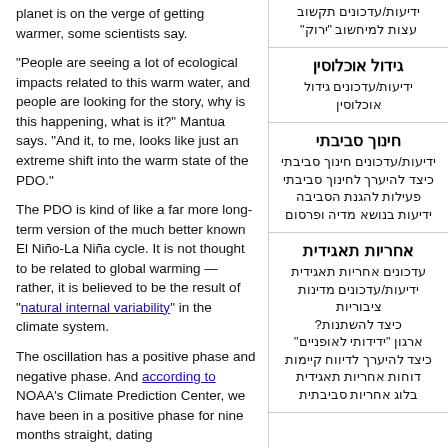planet is on the verge of getting warmer, some scientists say.
"People are seeing a lot of ecological impacts related to this warm water, and people are looking for the story, why is this happening, what is it?" Mantua says. "And it, to me, looks like just an extreme shift into the warm state of the PDO."
The PDO is kind of like a far more long-term version of the much better known El Niño-La Niña cycle. It is not thought to be related to global warming — rather, it is believed to be the result of "natural internal variability" in the climate system.
The oscillation has a positive phase and negative phase. And according to NOAA's Climate Prediction Center, we have been in a positive phase for nine months straight, dating
ידיעות/עדכונים תקשוב עצות למיחשוב "ירוק"
גידול אוכלוסין
ידיעות/עדכונים גידול אוכלוסין
חינוך סביתי
ידיעות/עדכונים חינוך סביבתי כיצד להיערך לחינוך סביבתי פעילות להגנת הסביבה ידיעות בנושא מדיה ופרסום
אחריות תאגידית
עדכונים אחריות תאגידית ידיעות/עדכונים מדינות ציבוריות כיצד להשתנות? ארגון "ידידותי לאופניים" כיצד להיערך לדיווח קיימות דוחות אחריות תאגידית בלוג אחריות סביבתית